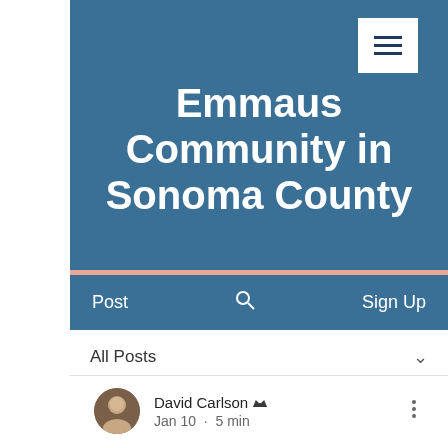Emmaus Community in Sonoma County
Post  🔍  Sign Up
All Posts
David Carlson  Jan 10  ·  5 min
665 Throughout 2022, let us pray a litany to the